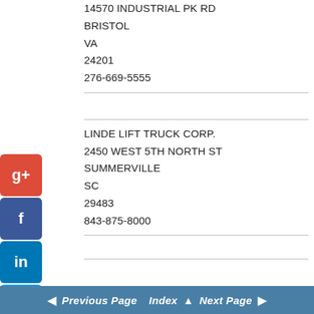14570 INDUSTRIAL PK RD
BRISTOL
VA
24201
276-669-5555
05415
LINDE LIFT TRUCK CORP.
2450 WEST 5TH NORTH ST
SUMMERVILLE
SC
29483
843-875-8000
83299
Previous Page   Index   Next Page